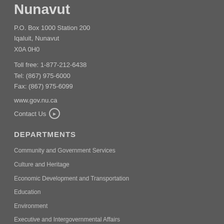Nunavut
P.O. Box 1000 Station 200
Iqaluit, Nunavut
X0A 0H0
Toll free: 1-877-212-6438
Tel: (867) 975-6000
Fax: (867) 975-6099
www.gov.nu.ca
Contact Us
DEPARTMENTS
Community and Government Services
Culture and Heritage
Economic Development and Transportation
Education
Environment
Executive and Intergovernmental Affairs
Family Services